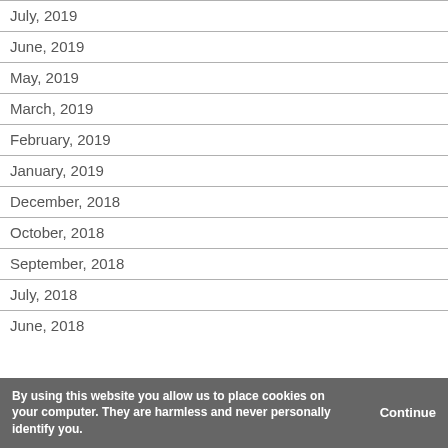July, 2019
June, 2019
May, 2019
March, 2019
February, 2019
January, 2019
December, 2018
October, 2018
September, 2018
July, 2018
June, 2018
By using this website you allow us to place cookies on your computer. They are harmless and never personally identify you.
Continue